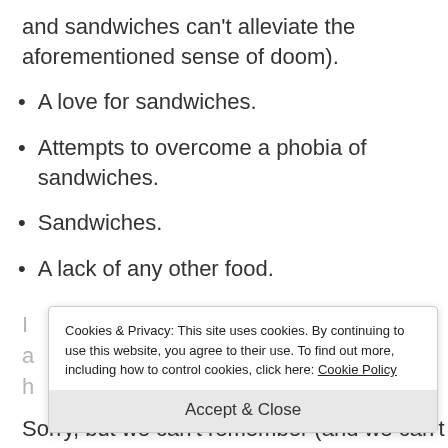and sandwiches can't alleviate the aforementioned sense of doom).
A love for sandwiches.
Attempts to overcome a phobia of sandwiches.
Sandwiches.
A lack of any other food.
Cookies & Privacy: This site uses cookies. By continuing to use this website, you agree to their use. To find out more, including how to control cookies, click here: Cookie Policy
Accept & Close
Sorry, but we can't remember (and we can't